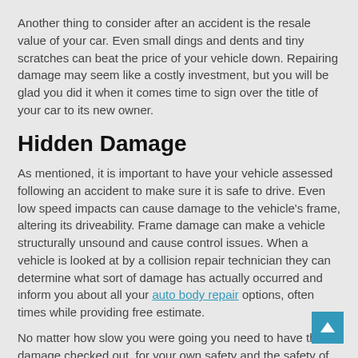Another thing to consider after an accident is the resale value of your car. Even small dings and dents and tiny scratches can beat the price of your vehicle down. Repairing damage may seem like a costly investment, but you will be glad you did it when it comes time to sign over the title of your car to its new owner.
Hidden Damage
As mentioned, it is important to have your vehicle assessed following an accident to make sure it is safe to drive. Even low speed impacts can cause damage to the vehicle's frame, altering its driveability. Frame damage can make a vehicle structurally unsound and cause control issues. When a vehicle is looked at by a collision repair technician they can determine what sort of damage has actually occurred and inform you about all your auto body repair options, often times while providing free estimate.
No matter how slow you were going you need to have the damage checked out, for your own safety and the safety of your passengers. For superior auto body repair in Portland contact ADESA Auto & Truck Collision Repair. Call our highly skilled team today at 503-674-5463 for a free estimate on collision repair in Portland for your personal or commercial vehicle. Be sure you check out our special offers for additional savings !